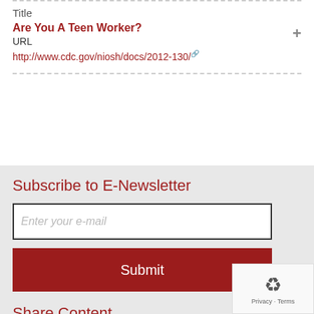Title
Are You A Teen Worker?
URL
http://www.cdc.gov/niosh/docs/2012-130/
Subscribe to E-Newsletter
Enter your e-mail
Submit
Share Content